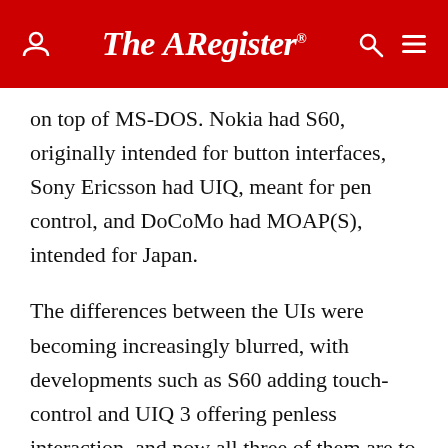The Register
on top of MS-DOS. Nokia had S60, originally intended for button interfaces, Sony Ericsson had UIQ, meant for pen control, and DoCoMo had MOAP(S), intended for Japan.
The differences between the UIs were becoming increasingly blurred, with developments such as S60 adding touch-control and UIQ 3 offering penless interaction, and now all three of them are to be combined into a single UI layer and given away royalty-free to Symbian Foundation members.